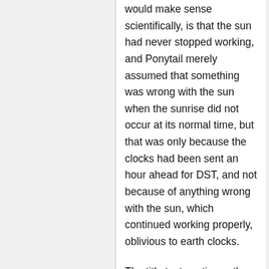would make sense scientifically, is that the sun had never stopped working, and Ponytail merely assumed that something was wrong with the sun when the sunrise did not occur at its normal time, but that was only because the clocks had been sent an hour ahead for DST, and not because of anything wrong with the sun, which continued working properly, oblivious to earth clocks.
The title text continues the lunacy (solacy?) of the situation with the cliché of the "obligatory bad guy" — a person in the plot who acts antagonistic, often for the flimsiest of reasons. There is also the common complaint, especially among the technologically inept